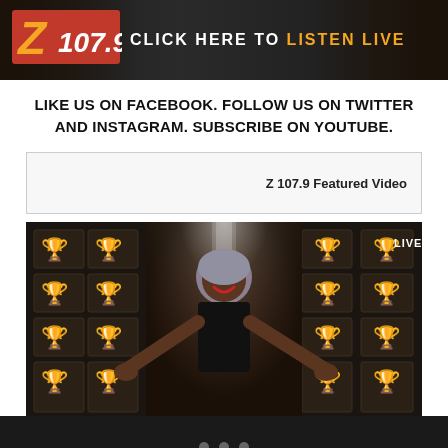[Figure (screenshot): Z 107.9 radio station banner with logo and 'CLICK HERE TO LISTEN LIVE' text in white and orange on dark background with silhouettes]
LIKE US ON FACEBOOK. FOLLOW US ON TWITTER AND INSTAGRAM. SUBSCRIBE ON YOUTUBE.
[Figure (screenshot): Z 107.9 Featured Video box with label on right side, light gray bordered box]
[Figure (photo): Video screenshot showing a woman in a black outfit smiling with arms outstretched on a stage surrounded by Emmy statuette display panels. LIVE badge in upper right corner.]
[Figure (screenshot): Bottom dark navigation bar with three dot pagination indicators]